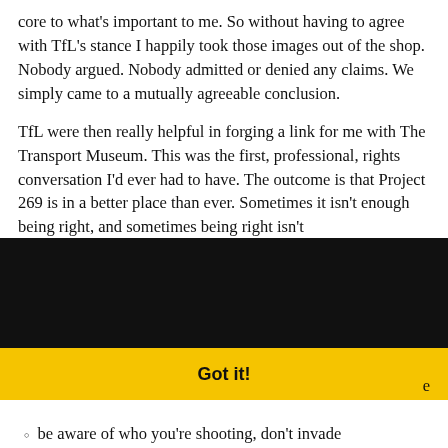core to what's important to me. So without having to agree with TfL's stance I happily took those images out of the shop. Nobody argued. Nobody admitted or denied any claims. We simply came to a mutually agreeable conclusion.
TfL were then really helpful in forging a link for me with The Transport Museum. This was the first, professional, rights conversation I'd ever had to have. The outcome is that Project 269 is in a better place than ever. Sometimes it isn't enough being right, and sometimes being right isn't
[Figure (screenshot): Cookie consent overlay with black background. Text reads 'This website uses cookies to ensure you get the best experience on our website.' with a 'Learn more' link in blue underlined text. Below is a yellow 'Got it!' button bar.]
e
be aware of who you're shooting, don't invade